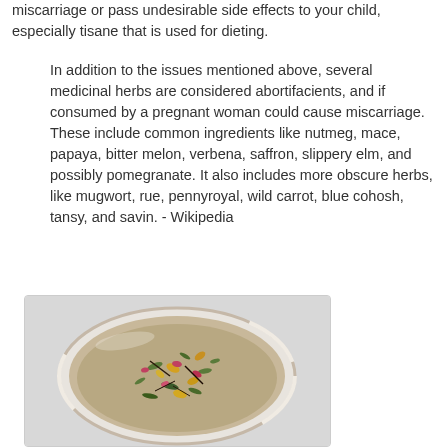miscarriage or pass undesirable side effects to your child, especially tisane that is used for dieting.
In addition to the issues mentioned above, several medicinal herbs are considered abortifacients, and if consumed by a pregnant woman could cause miscarriage. These include common ingredients like nutmeg, mace, papaya, bitter melon, verbena, saffron, slippery elm, and possibly pomegranate. It also includes more obscure herbs, like mugwort, rue, pennyroyal, wild carrot, blue cohosh, tansy, and savin. - Wikipedia
[Figure (photo): A bowl containing herbal tea with dried flowers and herbs floating in liquid, viewed from above.]